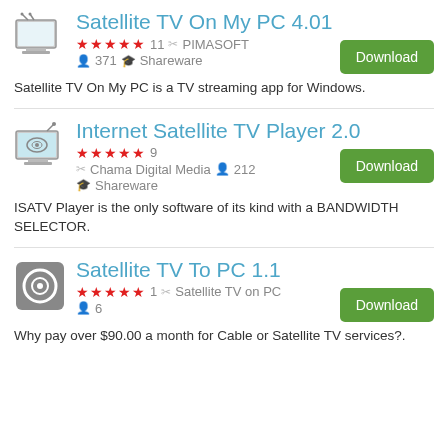Satellite TV On My PC 4.01
★★★★★ 11  🔑 PIMASOFT   👤 371  🎓 Shareware
Satellite TV On My PC is a TV streaming app for Windows.
Internet Satellite TV Player 2.0
★★★★★ 9  🔑 Chama Digital Media  👤 212  🎓 Shareware
ISATV Player is the only software of its kind with a BANDWIDTH SELECTOR.
Satellite TV To PC 1.1
★★★★★ 1  🔑 Satellite TV on PC  👤 6
Why pay over $90.00 a month for Cable or Satellite TV services?.